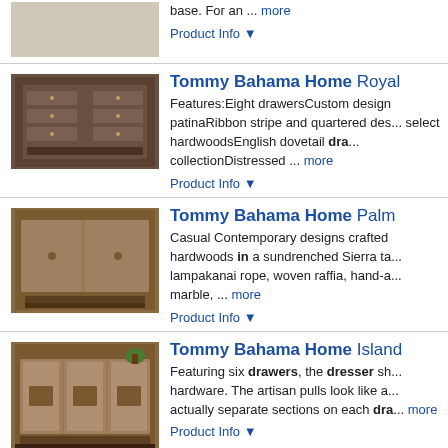[Figure (photo): Partial furniture product image at top, cut off]
base. For an ... more
Product Info ▼
Tommy Bahama Home Royal...
Features:Eight drawersCustom design patinaRibbon stripe and quartered des... select hardwoodsEnglish dovetail dra... collectionDistressed ... more
Product Info ▼
Tommy Bahama Home Palm ...
Casual Contemporary designs crafted hardwoods in a sundrenched Sierra ta... lampakanai rope, woven raffia, hand-a... marble, ... more
Product Info ▼
Tommy Bahama Home Island...
Featuring six drawers, the dresser sh... hardware. The artisan pulls look like a... actually separate sections on each dra... more
Product Info ▼
Tommy Bahama Home Los A...
This Los Altos 4 drawer dresser inclu... the end panels is accentuated by the c... extension and self-closing making th...